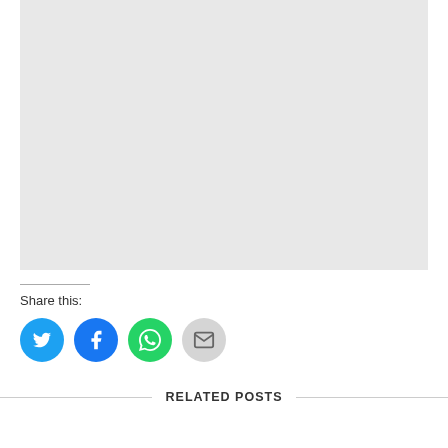[Figure (photo): Large light gray placeholder image area]
Share this:
[Figure (infographic): Social share buttons: Twitter (blue), Facebook (dark blue), WhatsApp (green), Email (gray)]
RELATED POSTS